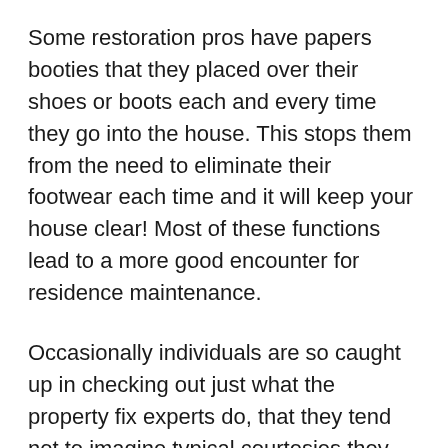Some restoration pros have papers booties that they placed over their shoes or boots each and every time they go into the house. This stops them from the need to eliminate their footwear each time and it will keep your house clear! Most of these functions lead to a more good encounter for residence maintenance.
Occasionally individuals are so caught up in checking out just what the property fix experts do, that they tend not to imagine typical courtesies they themselves may offer.